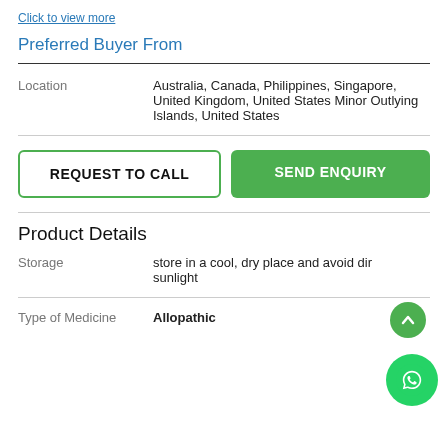Click to view more
Preferred Buyer From
|  |  |
| --- | --- |
| Location | Australia, Canada, Philippines, Singapore, United Kingdom, United States Minor Outlying Islands, United States |
REQUEST TO CALL
SEND ENQUIRY
Product Details
|  |  |
| --- | --- |
| Storage | store in a cool, dry place and avoid direct sunlight |
| Type of Medicine | Allopathic |